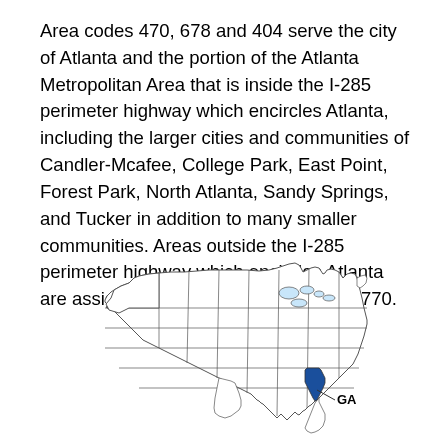Area codes 470, 678 and 404 serve the city of Atlanta and the portion of the Atlanta Metropolitan Area that is inside the I-285 perimeter highway which encircles Atlanta, including the larger cities and communities of Candler-Mcafee, College Park, East Point, Forest Park, North Atlanta, Sandy Springs, and Tucker in addition to many smaller communities. Areas outside the I-285 perimeter highway which encircles Atlanta are assigned area codes 470, 678 and 770.
[Figure (map): Map of the contiguous United States with the state of Georgia highlighted in dark blue, labeled 'GA' with a line pointer.]